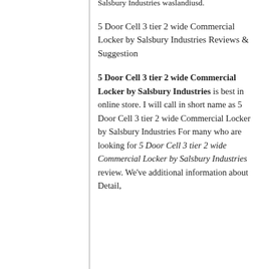Salsbury Industries waslandiusd.
5 Door Cell 3 tier 2 wide Commercial Locker by Salsbury Industries Reviews & Suggestion
5 Door Cell 3 tier 2 wide Commercial Locker by Salsbury Industries is best in online store. I will call in short name as 5 Door Cell 3 tier 2 wide Commercial Locker by Salsbury Industries For many who are looking for 5 Door Cell 3 tier 2 wide Commercial Locker by Salsbury Industries review. We've additional information about Detail,